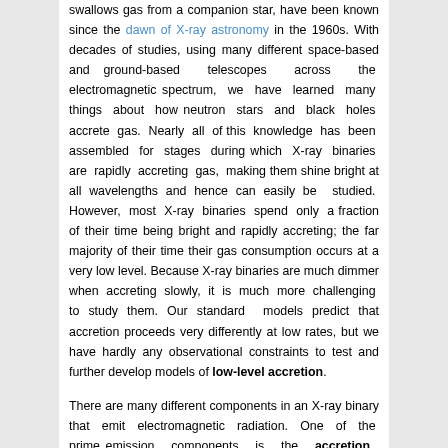swallows gas from a companion star, have been known since the dawn of X-ray astronomy in the 1960s. With decades of studies, using many different space-based and ground-based telescopes across the electromagnetic spectrum, we have learned many things about how neutron stars and black holes accrete gas. Nearly all of this knowledge has been assembled for stages during which X-ray binaries are rapidly accreting gas, making them shine bright at all wavelengths and hence can easily be studied. However, most X-ray binaries spend only a fraction of their time being bright and rapidly accreting; the far majority of their time their gas consumption occurs at a very low level. Because X-ray binaries are much dimmer when accreting slowly, it is much more challenging to study them. Our standard models predict that accretion proceeds very differently at low rates, but we have hardly any observational constraints to test and further develop models of low-level accretion.
There are many different components in an X-ray binary that emit electromagnetic radiation. One of the prime emission components is the accretion disk that.